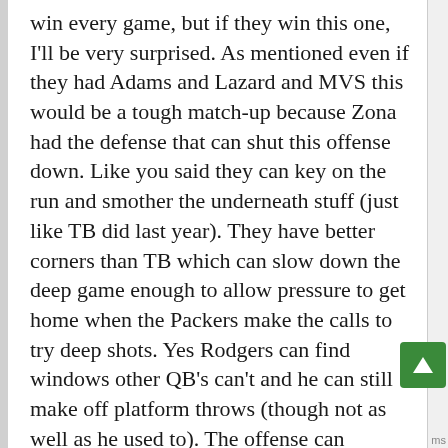win every game, but if they win this one, I'll be very surprised. As mentioned even if they had Adams and Lazard and MVS this would be a tough match-up because Zona had the defense that can shut this offense down. Like you said they can key on the run and smother the underneath stuff (just like TB did last year). They have better corners than TB which can slow down the deep game enough to allow pressure to get home when the Packers make the calls to try deep shots. Yes Rodgers can find windows other QB's can't and he can still make off platform throws (though not as well as he used to). The offense can transform into one that thrives off of the slot receiver, running backs in the flat, and tight ends in the seams, but that requires the offensive line